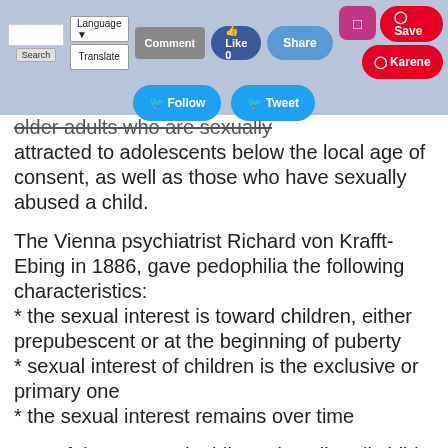Search | Language Translate | Comment | Like 0 | Share | Instagram | Save | Karene | Follow | Tweet
older adults who are sexually attracted to adolescents below the local age of consent, as well as those who have sexually abused a child.
The Vienna psychiatrist Richard von Krafft-Ebing in 1886, gave pedophilia the following characteristics:
* the sexual interest is toward children, either prepubescent or at the beginning of puberty
* sexual interest of children is the exclusive or primary one
* the sexual interest remains over time
Use of the term pedophile to describe all child sexual offenders is seen as problematic by some people, especially when viewed from a medical